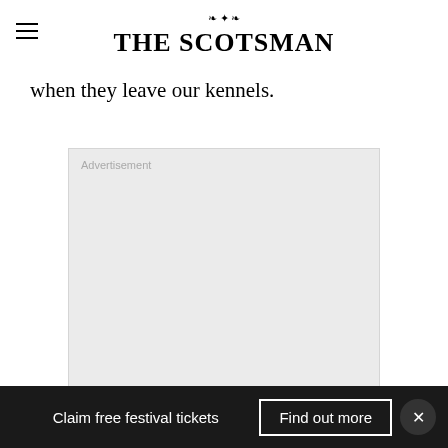THE SCOTSMAN
when they leave our kennels.
[Figure (other): Advertisement placeholder box with 'Advertisement' label in grey]
Claim free festival tickets  Find out more  ×